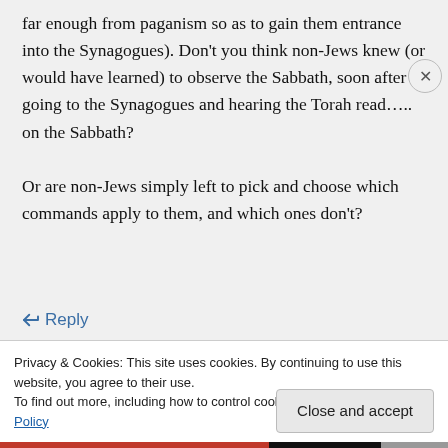far enough from paganism so as to gain them entrance into the Synagogues). Don't you think non-Jews knew (or would have learned) to observe the Sabbath, soon after going to the Synagogues and hearing the Torah read….. on the Sabbath?

Or are non-Jews simply left to pick and choose which commands apply to them, and which ones don't?
↩ Reply
Privacy & Cookies: This site uses cookies. By continuing to use this website, you agree to their use.
To find out more, including how to control cookies, see here: Cookie Policy
Close and accept